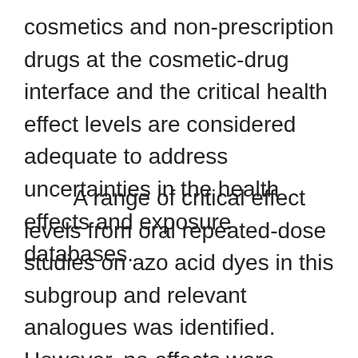cosmetics and non-prescription drugs at the cosmetic-drug interface and the critical health effect levels are considered adequate to address uncertainties in the health effects and exposure databases.
A range of critical effect levels from oral repeated-dose studies on azo acid dyes in this subgroup and relevant analogues was identified. However, no effects were observed in a chronic study in which mice received weekly applications to the skin of several azo acid dyes in this subgroup. These data were the basis for the risk